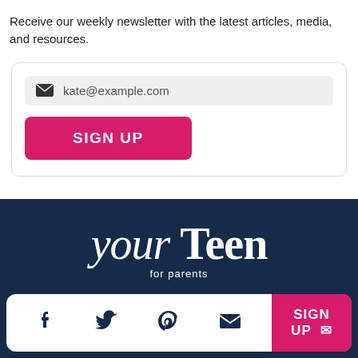Receive our weekly newsletter with the latest articles, media, and resources.
[Figure (screenshot): Email signup form with input field showing 'kate@example.com' placeholder and a pink 'SIGN UP' button]
[Figure (logo): Your Teen for parents logo in white on dark navy background]
[Figure (infographic): Social media icon bar with Facebook, Twitter, Pinterest, and Email icons, plus a pink SIGN UP button on the right]